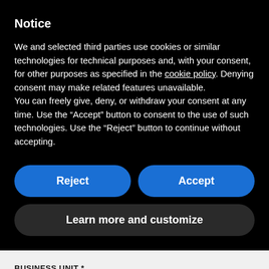Notice
We and selected third parties use cookies or similar technologies for technical purposes and, with your consent, for other purposes as specified in the cookie policy. Denying consent may make related features unavailable.
You can freely give, deny, or withdraw your consent at any time. Use the “Accept” button to consent to the use of such technologies. Use the “Reject” button to continue without accepting.
Reject
Accept
Learn more and customize
BUSINESS UNIT *
---
MESSAGE *